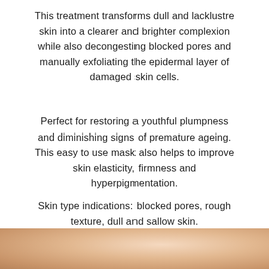This treatment transforms dull and lacklustre skin into a clearer and brighter complexion while also decongesting blocked pores and manually exfoliating the epidermal layer of damaged skin cells.
Perfect for restoring a youthful plumpness and diminishing signs of premature ageing. This easy to use mask also helps to improve skin elasticity, firmness and hyperpigmentation.
Skin type indications: blocked pores, rough texture, dull and sallow skin.
Price : N47,000
[Figure (photo): Close-up photo of skin, showing warm skin tones, partial view of hands or face]